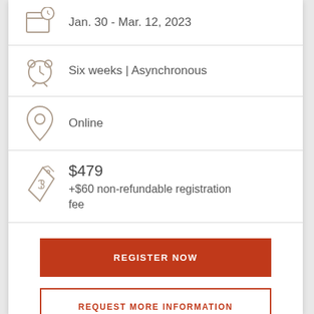Jan. 30 - Mar. 12, 2023
Six weeks | Asynchronous
Online
$479 +$60 non-refundable registration fee
REGISTER NOW
REQUEST MORE INFORMATION